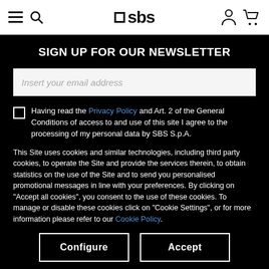SBS logo, hamburger menu, search, user and cart icons
SIGN UP FOR OUR NEWSLETTER
Insert your email address
Having read the Privacy Policy and Art. 2 of the General Conditions of access to and use of this site I agree to the processing of my personal data by SBS S.p.A.
This Site uses cookies and similar technologies, including third party cookies, to operate the Site and provide the services therein, to obtain statistics on the use of the Site and to send you personalised promotional messages in line with your preferences. By clicking on "Accept all cookies", you consent to the use of these cookies. To manage or disable these cookies click on "Cookie Settings", or for more information please refer to our Cookie Policy.
Configure
Accept